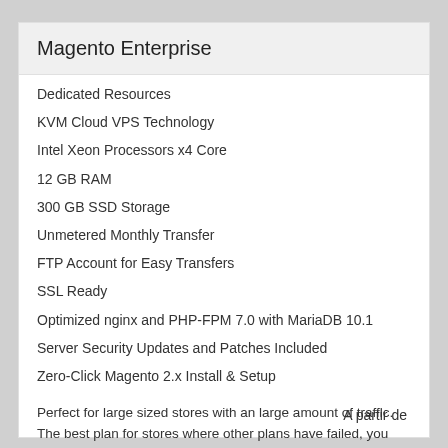Magento Enterprise
Dedicated Resources
KVM Cloud VPS Technology
Intel Xeon Processors x4 Core
12 GB RAM
300 GB SSD Storage
Unmetered Monthly Transfer
FTP Account for Easy Transfers
SSL Ready
Optimized nginx and PHP-FPM 7.0 with MariaDB 10.1
Server Security Updates and Patches Included
Zero-Click Magento 2.x Install & Setup
Perfect for large sized stores with an large amount of traffic. The best plan for stores where other plans have failed, you need reliability, and the best uptime money can buy!
A partir de